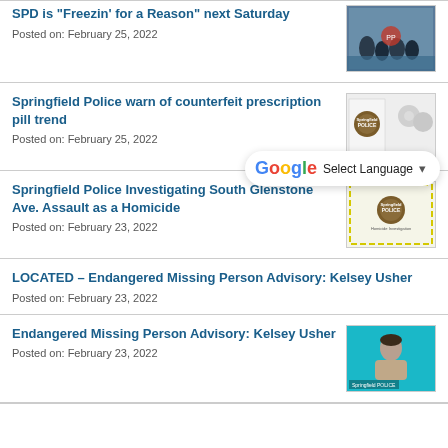SPD is "Freezin' for a Reason" next Saturday
Posted on: February 25, 2022
Springfield Police warn of counterfeit prescription pill trend
Posted on: February 25, 2022
[Figure (screenshot): Google Translate Select Language widget]
Springfield Police Investigating South Glenstone Ave. Assault as a Homicide
Posted on: February 23, 2022
LOCATED – Endangered Missing Person Advisory: Kelsey Usher
Posted on: February 23, 2022
Endangered Missing Person Advisory: Kelsey Usher
Posted on: February 23, 2022